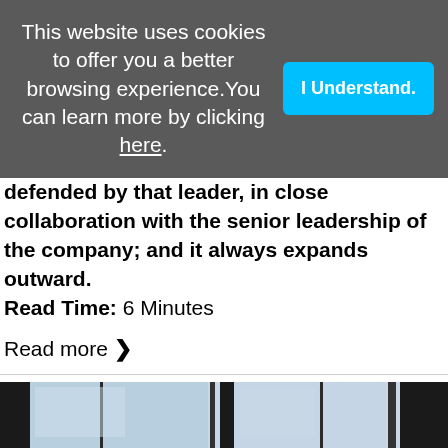This website uses cookies to offer you a better browsing experience. You can learn more by clicking here.
I Understand.
defended by that leader, in close collaboration with the senior leadership of the company; and it always expands outward.
Read Time: 6 Minutes
Read more ›
[Figure (photo): Bottom portion of a building exterior with vertical window panels showing reflections of sky and dark framing columns.]